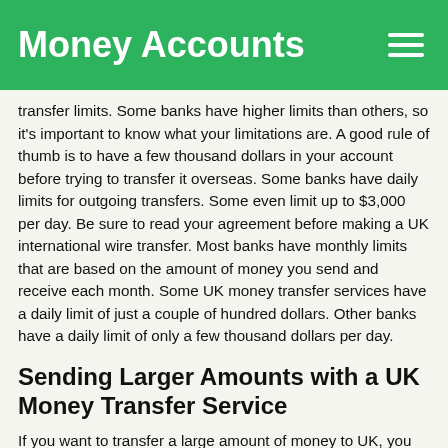Money Accounts
transfer limits. Some banks have higher limits than others, so it's important to know what your limitations are. A good rule of thumb is to have a few thousand dollars in your account before trying to transfer it overseas. Some banks have daily limits for outgoing transfers. Some even limit up to $3,000 per day. Be sure to read your agreement before making a UK international wire transfer. Most banks have monthly limits that are based on the amount of money you send and receive each month. Some UK money transfer services have a daily limit of just a couple of hundred dollars. Other banks have a daily limit of only a few thousand dollars per day.
Sending Larger Amounts with a UK Money Transfer Service
If you want to transfer a large amount of money to UK, you might consider using a UK money transfer service. There are a number of different options available and you can choose from several different UK payment methods. For example, you can choose to send money